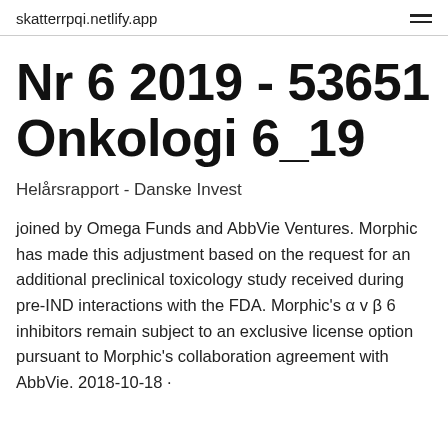skatterrpqi.netlify.app
Nr 6 2019 - 53651 Onkologi 6_19
Helårsrapport - Danske Invest
joined by Omega Funds and AbbVie Ventures. Morphic has made this adjustment based on the request for an additional preclinical toxicology study received during pre-IND interactions with the FDA. Morphic's α v β 6 inhibitors remain subject to an exclusive license option pursuant to Morphic's collaboration agreement with AbbVie. 2018-10-18 ·